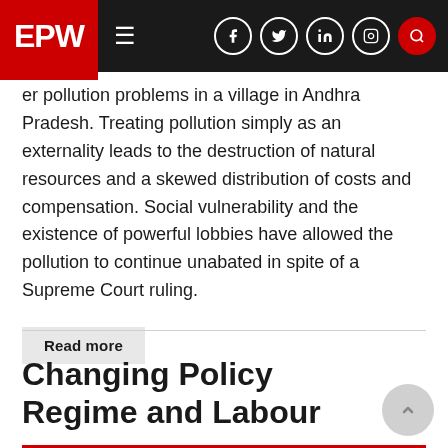EPW
er pollution problems in a village in Andhra Pradesh. Treating pollution simply as an externality leads to the destruction of natural resources and a skewed distribution of costs and compensation. Social vulnerability and the existence of powerful lobbies have allowed the pollution to continue unabated in spite of a Supreme Court ruling.
Read more
Changing Policy Regime and Labour